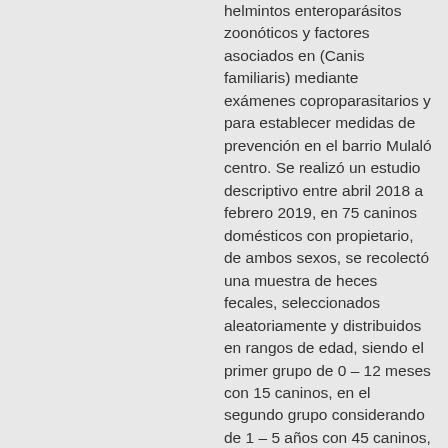helmintos enteroparásitos zoonóticos y factores asociados en (Canis familiaris) mediante exámenes coproparasitarios y para establecer medidas de prevención en el barrio Mulaló centro. Se realizó un estudio descriptivo entre abril 2018 a febrero 2019, en 75 caninos domésticos con propietario, de ambos sexos, se recolectó una muestra de heces fecales, seleccionados aleatoriamente y distribuidos en rangos de edad, siendo el primer grupo de 0 – 12 meses con 15 caninos, en el segundo grupo considerando de 1 – 5 años con 45 caninos, y un tercer grupo comprendido a canino mayores a 5 años con 15 caninos. Se tomó alrededor de 2gr de heces fecales frescas, las cuales fueron procesadas en el